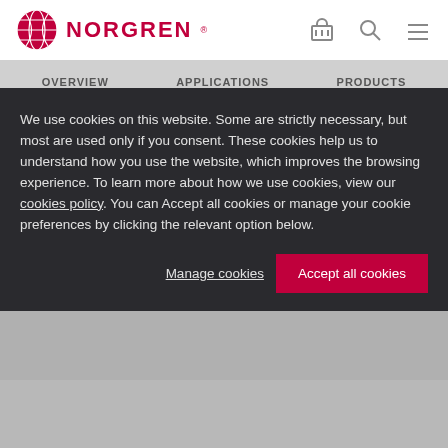[Figure (logo): Norgren logo: red globe icon and red NORGREN wordmark]
OVERVIEW   APPLICATIONS   PRODUCTS
We use cookies on this website. Some are strictly necessary, but most are used only if you consent. These cookies help us to understand how you use the website, which improves the browsing experience. To learn more about how we use cookies, view our cookies policy. You can Accept all cookies or manage your cookie preferences by clicking the relevant option below.
Manage cookies
Accept all cookies